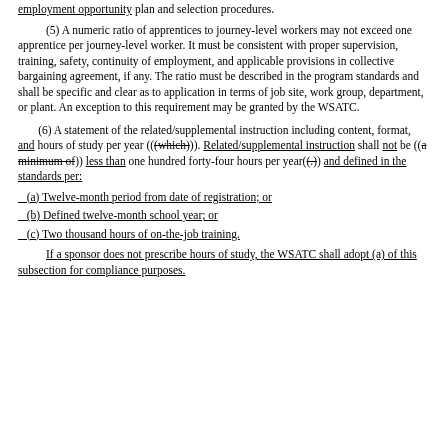employment opportunity plan and selection procedures.
(5) A numeric ratio of apprentices to journey-level workers may not exceed one apprentice per journey-level worker. It must be consistent with proper supervision, training, safety, continuity of employment, and applicable provisions in collective bargaining agreement, if any. The ratio must be described in the program standards and shall be specific and clear as to application in terms of job site, work group, department, or plant. An exception to this requirement may be granted by the WSATC.
(6) A statement of the related/supplemental instruction including content, format, and hours of study per year (((which))). Related/supplemental instruction shall not be ((a minimum of)) less than one hundred forty-four hours per year((.)) and defined in the standards per:
(a) Twelve-month period from date of registration; or
(b) Defined twelve-month school year; or
(c) Two thousand hours of on-the-job training.
If a sponsor does not prescribe hours of study, the WSATC shall adopt (a) of this subsection for compliance purposes.